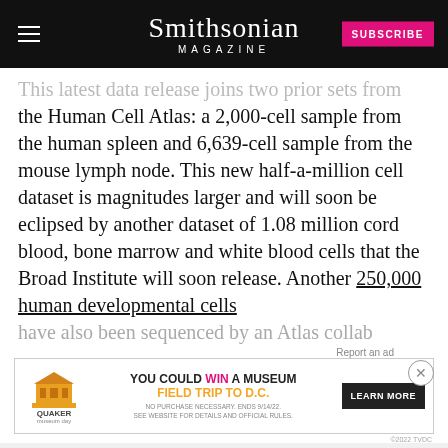Smithsonian MAGAZINE
This latest data release joins two prior sets from the Human Cell Atlas: a 2,000-cell sample from the human spleen and 6,639-cell sample from the mouse lymph node. This new half-a-million cell dataset is magnitudes larger and will soon be eclipsed by another dataset of 1.08 million cord blood, bone marrow and white blood cells that the Broad Institute will soon release. Another 250,000 human developmental cells have also been sequenced by an Atlas collaborator and made public.
[Figure (screenshot): Quaker Museum Day advertisement banner: 'YOU COULD WIN A MUSEUM FIELD TRIP TO D.C.' with LEARN MORE button]
In all, the data is a solid first step toward the